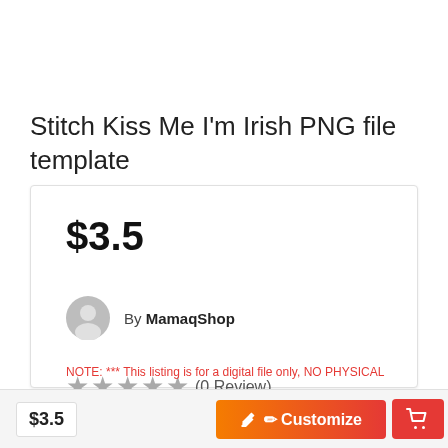Stitch Kiss Me I'm Irish PNG file template
$3.5
By MamaqShop
★★★★★ (0 Review)
NOTE: *** This listing is for a digital file only, NO PHYSICAL
$3.5
✏ Customize
[Figure (other): Shopping cart icon button (red background)]